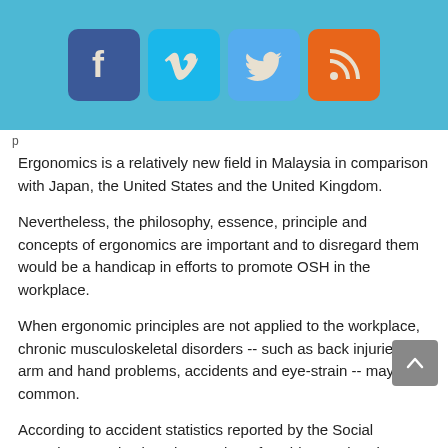[Figure (other): Social media icons bar: Facebook, Vimeo, Twitter, RSS on a light blue background]
p
Ergonomics is a relatively new field in Malaysia in comparison with Japan, the United States and the United Kingdom.
Nevertheless, the philosophy, essence, principle and concepts of ergonomics are important and to disregard them would be a handicap in efforts to promote OSH in the workplace.
When ergonomic principles are not applied to the workplace, chronic musculoskeletal disorders -- such as back injuries, arm and hand problems, accidents and eye-strain -- may be common.
According to accident statistics reported by the Social Security Organisation, the number of accidents related to musculo-skeletal diseases increased from 14 cases in 2006 to 194 cases this year.
Industries suffer from tangible and intangible losses because of